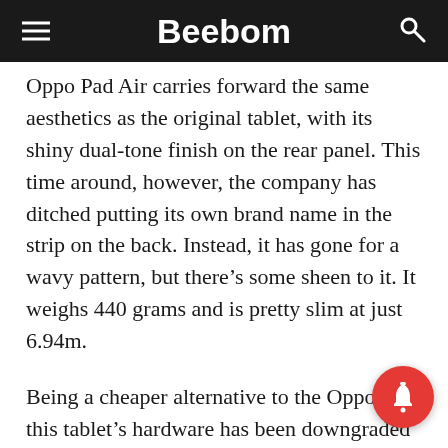Beebom
Oppo Pad Air carries forward the same aesthetics as the original tablet, with its shiny dual-tone finish on the rear panel. This time around, however, the company has ditched putting its own brand name in the strip on the back. Instead, it has gone for a wavy pattern, but there’s some sheen to it. It weighs 440 grams and is pretty slim at just 6.94m.
Being a cheaper alternative to the Oppo Pad, this tablet’s hardware has been downgraded on all fronts. Starting with the display, the Pad Air sports a smaller 10.36-inch 2K LTPS LCD display with a standard 60Hz refresh rate and a 120Hz touch sampling The original Oppo Pad had a 120Hz 2.5K+ LCD